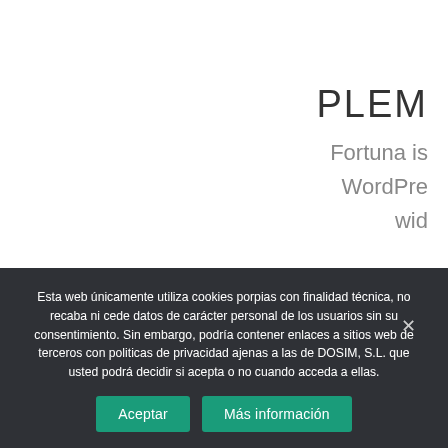PLEM
Fortuna is
WordPre
wid
Esta web únicamente utiliza cookies porpias con finalidad técnica, no recaba ni cede datos de carácter personal de los usuarios sin su consentimiento. Sin embargo, podría contener enlaces a sitios web de terceros con politicas de privacidad ajenas a las de DOSIM, S.L. que usted podrá decidir si acepta o no cuando acceda a ellas.